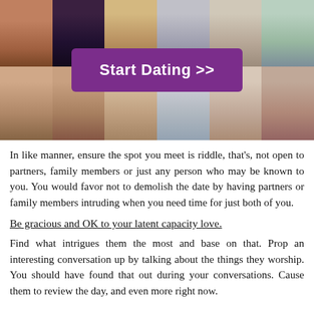[Figure (photo): Collage of photos of women arranged in a grid with a purple 'Start Dating >>' call-to-action button overlaid in the center]
In like manner, ensure the spot you meet is riddle, that's, not open to partners, family members or just any person who may be known to you. You would favor not to demolish the date by having partners or family members intruding when you need time for just both of you.
Be gracious and OK to your latent capacity love.
Find what intrigues them the most and base on that. Prop an interesting conversation up by talking about the things they worship. You should have found that out during your conversations. Cause them to review the day, and even more right now.